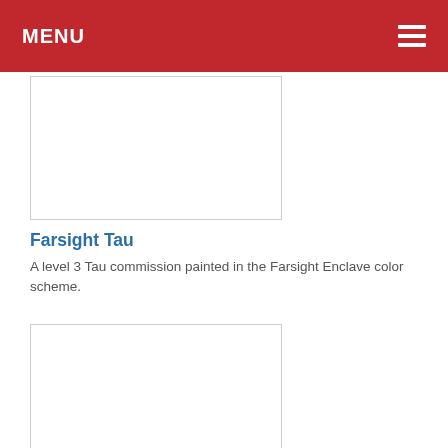MENU
[Figure (other): White image card with border for Farsight Tau article]
Farsight Tau
A level 3 Tau commission painted in the Farsight Enclave color scheme.
[Figure (other): White image card with border for Dark Angels Characters article]
Dark Angels Characters
A dark and broody level 3 Dark Angels Character commission.  Bases not ...